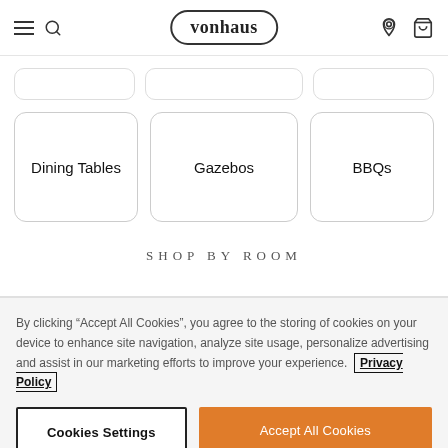vonhaus
Dining Tables
Gazebos
BBQs
SHOP BY ROOM
By clicking “Accept All Cookies”, you agree to the storing of cookies on your device to enhance site navigation, analyze site usage, personalize advertising and assist in our marketing efforts to improve your experience. Privacy Policy
Cookies Settings
Accept All Cookies